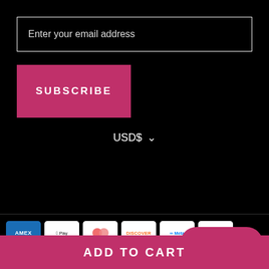Enter your email address
SUBSCRIBE
USD$
[Figure (other): Payment method icons: American Express (AMEX), Apple Pay, Diners Club, Discover, Meta Pay, PayPal]
Chat with us
ADD TO CART